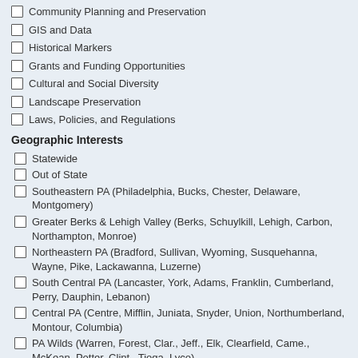Community Planning and Preservation
GIS and Data
Historical Markers
Grants and Funding Opportunities
Cultural and Social Diversity
Landscape Preservation
Laws, Policies, and Regulations
Geographic Interests
Statewide
Out of State
Southeastern PA (Philadelphia, Bucks, Chester, Delaware, Montgomery)
Greater Berks & Lehigh Valley (Berks, Schuylkill, Lehigh, Carbon, Northampton, Monroe)
Northeastern PA (Bradford, Sullivan, Wyoming, Susquehanna, Wayne, Pike, Lackawanna, Luzerne)
South Central PA (Lancaster, York, Adams, Franklin, Cumberland, Perry, Dauphin, Lebanon)
Central PA (Centre, Mifflin, Juniata, Snyder, Union, Northumberland, Montour, Columbia)
PA Wilds (Warren, Forest, Clar., Jeff., Elk, Clearfield, Came., McKean, Potter, Clint., Tioga, Lyco)
Southwestern PA (Greene, Fayette, Somerset, Bedford, Blair,